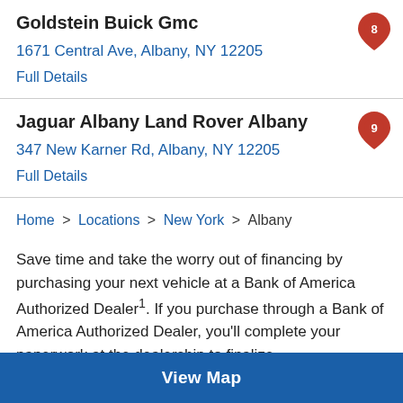Goldstein Buick Gmc
1671 Central Ave, Albany, NY 12205
Full Details
Jaguar Albany Land Rover Albany
347 New Karner Rd, Albany, NY 12205
Full Details
Home > Locations > New York > Albany
Save time and take the worry out of financing by purchasing your next vehicle at a Bank of America Authorized Dealer1. If you purchase through a Bank of America Authorized Dealer, you'll complete your paperwork at the dealership to finalize
View Map